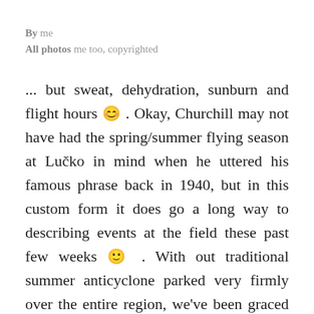By me
All photos me too, copyrighted
... but sweat, dehydration, sunburn and flight hours 😊 . Okay, Churchill may not have had the spring/summer flying season at Lučko in mind when he uttered his famous phrase back in 1940, but in this custom form it does go a long way to describing events at the field these past few weeks 🙂 . With out traditional summer anticyclone parked very firmly over the entire region, we've been graced with fantastic flying weather for days on end, allowing out entire fleet to go